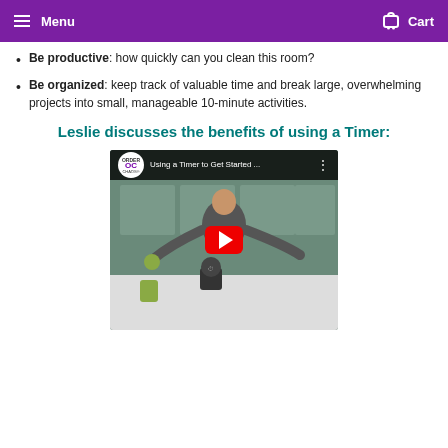Menu   Cart
Be productive: how quickly can you clean this room?
Be organized: keep track of valuable time and break large, overwhelming projects into small, manageable 10-minute activities.
Leslie discusses the benefits of using a Timer:
[Figure (screenshot): YouTube video thumbnail showing a woman in a kitchen with a timer on the counter, titled 'Using a Timer to Get Started ...' with an Order Out of Chaos logo and a red YouTube play button overlay.]